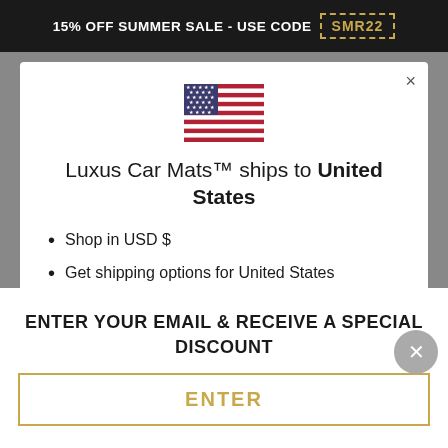15% OFF SUMMER SALE - USE CODE SMR22
[Figure (illustration): US flag emoji/icon centered in modal]
Luxus Car Mats™ ships to United States
Shop in USD $
Get shipping options for United States
Shop now (button)
ENTER YOUR EMAIL & RECEIVE A SPECIAL DISCOUNT
ENTER (button)